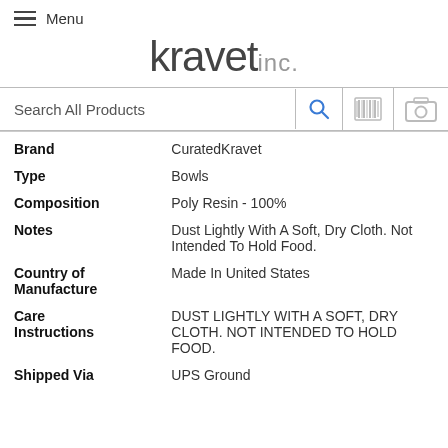Menu
kravet inc.
Search All Products
| Field | Value |
| --- | --- |
| Brand | CuratedKravet |
| Type | Bowls |
| Composition | Poly Resin - 100% |
| Notes | Dust Lightly With A Soft, Dry Cloth. Not Intended To Hold Food. |
| Country of Manufacture | Made In United States |
| Care Instructions | DUST LIGHTLY WITH A SOFT, DRY CLOTH. NOT INTENDED TO HOLD FOOD. |
| Shipped Via | UPS Ground |